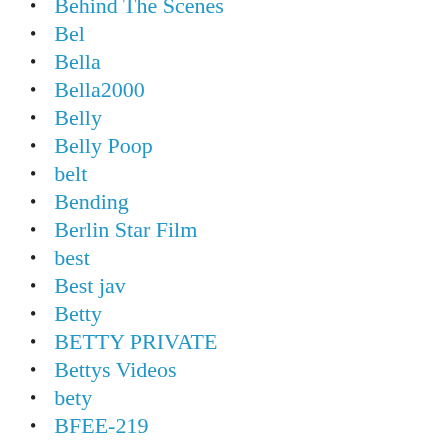Behind The Scenes
Bel
Bella
Bella2000
Belly
Belly Poop
belt
Bending
Berlin Star Film
best
Best jav
Betty
BETTY PRIVATE
Bettys Videos
bety
BFEE-219